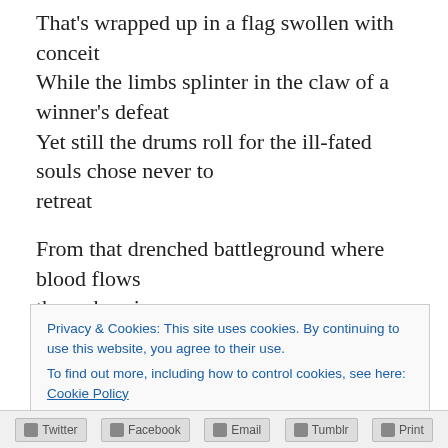That's wrapped up in a flag swollen with conceit
While the limbs splinter in the claw of a winner's defeat
Yet still the drums roll for the ill-fated souls chose never to retreat
From that drenched battleground where blood flows through a sieve
And love's lost song plaintively begs for a reprieve
From eternal loss which into raw emotion does cleave
Only to slip through the fingers and like grains of sand leave
Privacy & Cookies: This site uses cookies. By continuing to use this website, you agree to their use.
To find out more, including how to control cookies, see here: Cookie Policy
Close and accept
Twitter  Facebook  Email  Tumblr  Print